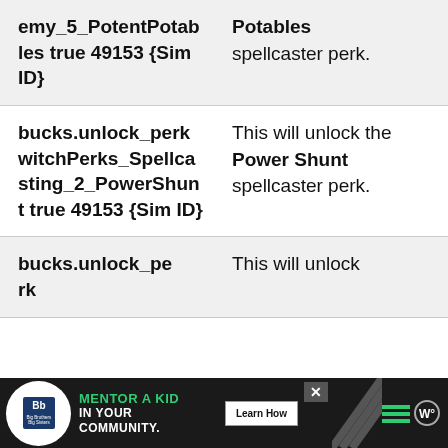| Cheat Code | Description |
| --- | --- |
| bucks.unlock_perk witchPerks_Spellcasting_5_PotentPotables true 49153 {Sim ID} | Potables spellcaster perk. |
| bucks.unlock_perk witchPerks_Spellcasting_2_PowerShunt true 49153 {Sim ID} | This will unlock the Power Shunt spellcaster perk. |
| bucks.unlock_perk ... | This will unlock |
[Figure (other): Advertisement banner: Big Brothers Big Sisters logo. Text: MENTOR A KID IN YOUR COMMUNITY. Learn How button. Close button.]